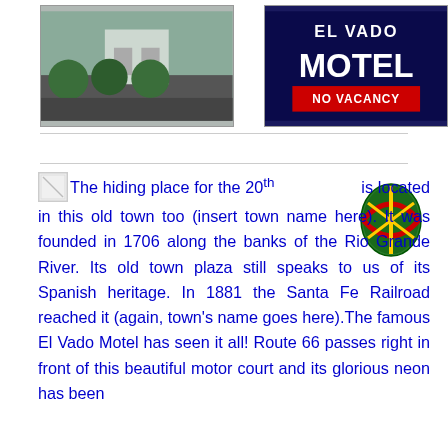[Figure (photo): Photo of a building with round trimmed bushes/trees in front, daytime outdoor scene]
[Figure (photo): El Vado Motel sign on dark blue background with NO VACANCY text]
[Figure (photo): Decorative colorful Easter egg with geometric patterns]
[Figure (illustration): Small broken image placeholder icon]
The hiding place for the 20th [egg image] is located in this old town too (insert town name here). It was founded in 1706 along the banks of the Rio Grande River. Its old town plaza still speaks to us of its Spanish heritage. In 1881 the Santa Fe Railroad reached it (again, town's name goes here).The famous El Vado Motel has seen it all! Route 66 passes right in front of this beautiful motor court and its glorious neon has been